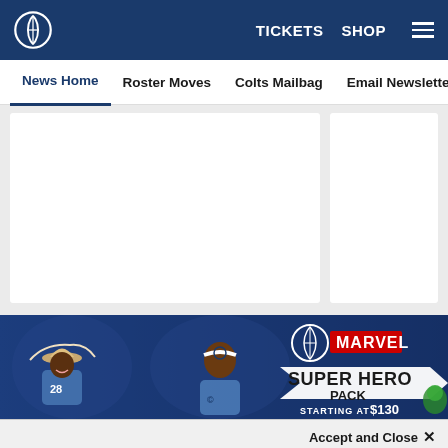Indianapolis Colts — TICKETS  SHOP  [menu]
News Home  Roster Moves  Colts Mailbag  Email Newsletter  U
[Figure (screenshot): Two white content card placeholders side by side on gray background]
[Figure (illustration): Colts x Marvel Super Hero Pack promotional banner — two cartoon football players, Colts and Marvel logos, text: SUPER HERO PACK STARTING AT $130]
Accept and Close ✕
Your browser settings do not allow cross-site tracking for advertising. Click on this page to allow AdRoll to use cross-site tracking to tailor ads to you. Learn more or opt out of this AdRoll tracking by clicking here. This message only appears once.